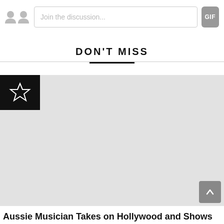Join the discussion...
DON'T MISS
[Figure (photo): Gray placeholder image for an article about an Aussie Musician, with a black star badge in the top-left corner.]
Aussie Musician Takes on Hollywood and Shows